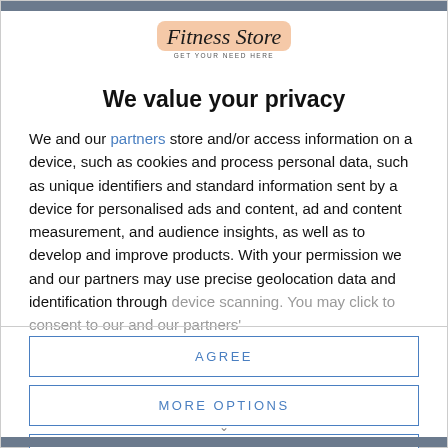[Figure (logo): Fitness Store logo with cursive text on peach/salmon background brush stroke, with tagline 'GET YOUR NEED HERE']
We value your privacy
We and our partners store and/or access information on a device, such as cookies and process personal data, such as unique identifiers and standard information sent by a device for personalised ads and content, ad and content measurement, and audience insights, as well as to develop and improve products. With your permission we and our partners may use precise geolocation data and identification through device scanning. You may click to consent to our and our partners'
AGREE
MORE OPTIONS
DISAGREE